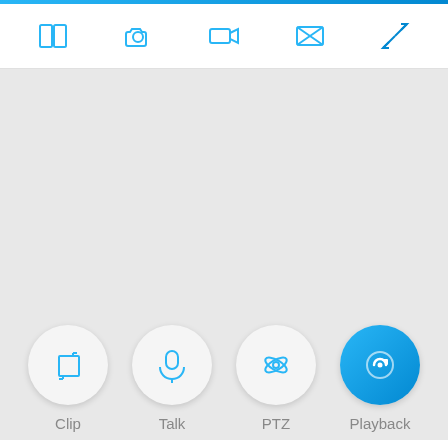[Figure (screenshot): Mobile app UI screenshot showing a camera/security viewer interface with a top toolbar containing split-view, snapshot, video, overlay, and fullscreen icons; a gray main viewing area; and a bottom row of four circular buttons labeled Clip, Talk, PTZ, and Playback (Playback is highlighted in blue).]